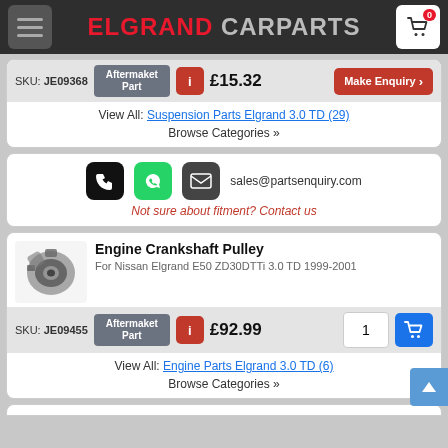ELGRAND CARPARTS
SKU: JE09368 Aftermaket Part £15.32 Make Enquiry
View All: Suspension Parts Elgrand 3.0 TD (29)
Browse Categories »
sales@partsenquiry.com
Not sure about fitment? Contact us
Engine Crankshaft Pulley
For Nissan Elgrand E50 ZD30DTTi 3.0 TD 1999-2001
SKU: JE09455 Aftermaket Part £92.99 1
View All: Engine Parts Elgrand 3.0 TD (6)
Browse Categories »